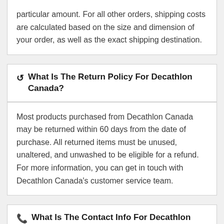particular amount. For all other orders, shipping costs are calculated based on the size and dimension of your order, as well as the exact shipping destination.
↺  What Is The Return Policy For Decathlon Canada?
Most products purchased from Decathlon Canada may be returned within 60 days from the date of purchase. All returned items must be unused, unaltered, and unwashed to be eligible for a refund. For more information, you can get in touch with Decathlon Canada's customer service team.
📞  What Is The Contact Info For Decathlon Canada?
If you need help with your order, you can contact Decathlon